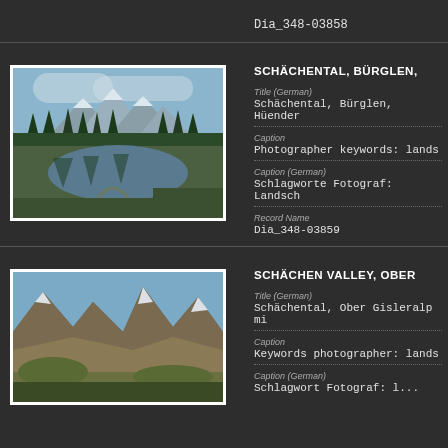Dia_348-03858
[Figure (photo): Mountain lake with trees and alpine peaks reflected in still water, Schächental]
SCHÄCHENTAL, BÜRGLEN,
Title (German)
Schächental, Bürglen, Hüender
Caption
Photographer keywords: lands
Caption (German)
Schlagworte Fotograf: Landsch
Record Name
Dia_348-03859
[Figure (photo): Mountain valley with rocky peaks and alpine scenery, Schächen Valley]
SCHÄCHEN VALLEY, OBER
Title (German)
Schächental, Ober Gisleralp mi
Caption
Keywords photographer: lands
Caption (German)
Schlagwort Fotograf: l...